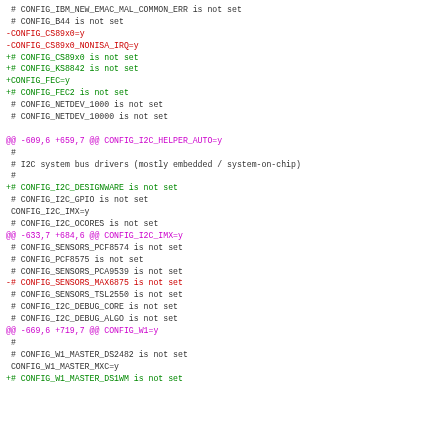# CONFIG_IBM_NEW_EMAC_MAL_COMMON_ERR is not set
 # CONFIG_B44 is not set
-CONFIG_CS89x0=y
-CONFIG_CS89x0_NONISA_IRQ=y
+# CONFIG_CS89x0 is not set
+# CONFIG_KS8842 is not set
+CONFIG_FEC=y
+# CONFIG_FEC2 is not set
 # CONFIG_NETDEV_1000 is not set
 # CONFIG_NETDEV_10000 is not set

@@ -609,6 +659,7 @@ CONFIG_I2C_HELPER_AUTO=y
 #
 # I2C system bus drivers (mostly embedded / system-on-chip)
 #
+# CONFIG_I2C_DESIGNWARE is not set
 # CONFIG_I2C_GPIO is not set
 CONFIG_I2C_IMX=y
 # CONFIG_I2C_OCORES is not set
@@ -633,7 +684,6 @@ CONFIG_I2C_IMX=y
 # CONFIG_SENSORS_PCF8574 is not set
 # CONFIG_PCF8575 is not set
 # CONFIG_SENSORS_PCA9539 is not set
-# CONFIG_SENSORS_MAX6875 is not set
 # CONFIG_SENSORS_TSL2550 is not set
 # CONFIG_I2C_DEBUG_CORE is not set
 # CONFIG_I2C_DEBUG_ALGO is not set
@@ -669,6 +719,7 @@ CONFIG_W1=y
 #
 # CONFIG_W1_MASTER_DS2482 is not set
 CONFIG_W1_MASTER_MXC=y
+# CONFIG_W1_MASTER_DS1WM is not set